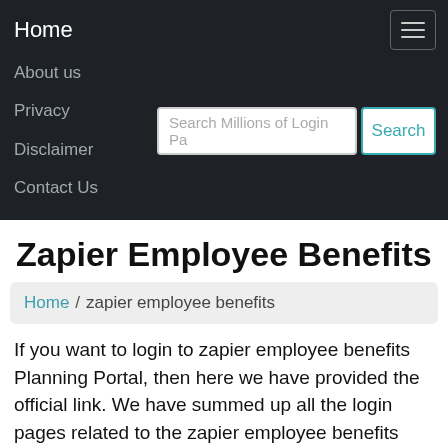Home
About us
Privacy
Disclaimer
Contact Us
Zapier Employee Benefits
Home / zapier employee benefits
If you want to login to zapier employee benefits Planning Portal, then here we have provided the official link. We have summed up all the login pages related to the zapier employee benefits Planning Portal. This huge